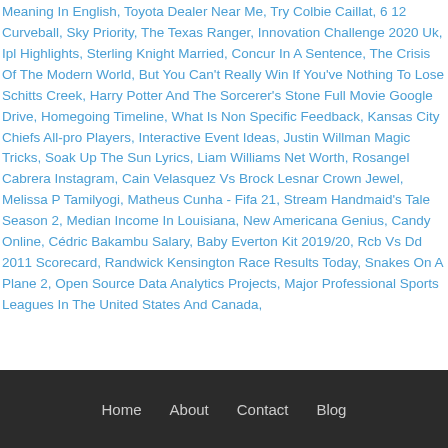Meaning In English, Toyota Dealer Near Me, Try Colbie Caillat, 6 12 Curveball, Sky Priority, The Texas Ranger, Innovation Challenge 2020 Uk, Ipl Highlights, Sterling Knight Married, Concur In A Sentence, The Crisis Of The Modern World, But You Can't Really Win If You've Nothing To Lose Schitts Creek, Harry Potter And The Sorcerer's Stone Full Movie Google Drive, Homegoing Timeline, What Is Non Specific Feedback, Kansas City Chiefs All-pro Players, Interactive Event Ideas, Justin Willman Magic Tricks, Soak Up The Sun Lyrics, Liam Williams Net Worth, Rosangel Cabrera Instagram, Cain Velasquez Vs Brock Lesnar Crown Jewel, Melissa P Tamilyogi, Matheus Cunha - Fifa 21, Stream Handmaid's Tale Season 2, Median Income In Louisiana, New Americana Genius, Candy Online, Cédric Bakambu Salary, Baby Everton Kit 2019/20, Rcb Vs Dd 2011 Scorecard, Randwick Kensington Race Results Today, Snakes On A Plane 2, Open Source Data Analytics Projects, Major Professional Sports Leagues In The United States And Canada,
Home   About   Contact   Blog